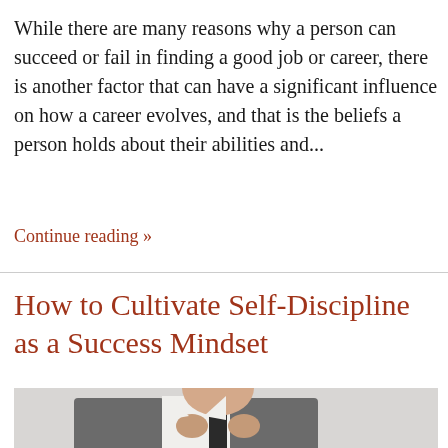While there are many reasons why a person can succeed or fail in finding a good job or career, there is another factor that can have a significant influence on how a career evolves, and that is the beliefs a person holds about their abilities and...
Continue reading »
How to Cultivate Self-Discipline as a Success Mindset
[Figure (photo): A man in a grey suit and dark tie, adjusting his tie with both hands, photographed from the chest up against a light background.]